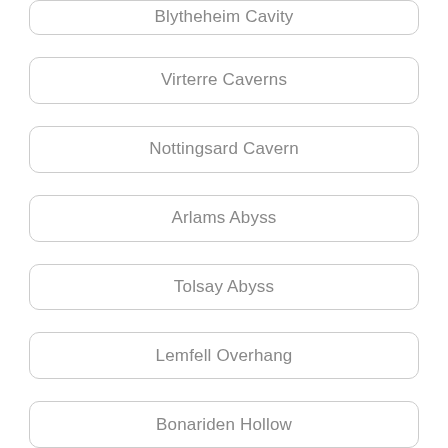Blytheheim Cavity
Virterre Caverns
Nottingsard Cavern
Arlams Abyss
Tolsay Abyss
Lemfell Overhang
Bonariden Hollow